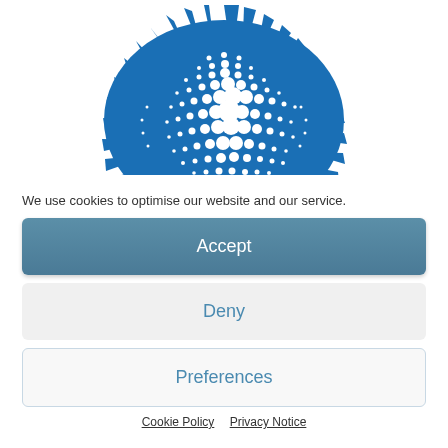[Figure (logo): Blue spiky starburst logo with white dot pattern forming a globe/sphere in the center]
We use cookies to optimise our website and our service.
Accept
Deny
Preferences
Cookie Policy   Privacy Notice